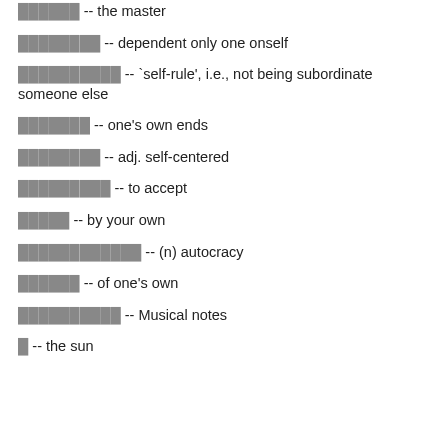░░░░░░ -- the master
░░░░░░░░ -- dependent only one onself
░░░░░░░░░░ -- `self-rule', i.e., not being subordinate someone else
░░░░░░░ -- one's own ends
░░░░░░░░ -- adj. self-centered
░░░░░░░░░ -- to accept
░░░░░ -- by your own
░░░░░░░░░░░░ -- (n) autocracy
░░░░░░ -- of one's own
░░░░░░░░░░ -- Musical notes
░ -- the sun